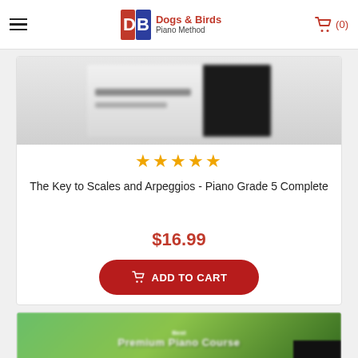Dogs & Birds Piano Method — (0) cart
[Figure (photo): Blurred book cover for The Key to Scales and Arpeggios - Piano Grade 5 Complete]
★★★★★
The Key to Scales and Arpeggios - Piano Grade 5 Complete
$16.99
ADD TO CART
[Figure (photo): Blurred green book cover for a piano course, partially visible at bottom of page]